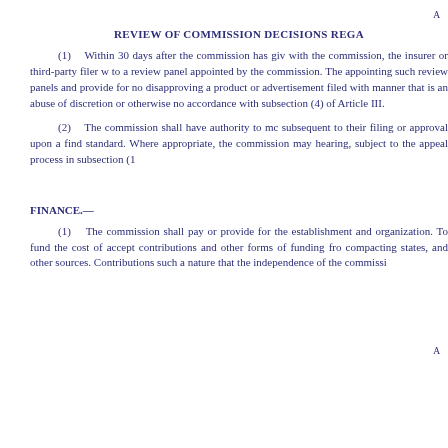A
REVIEW OF COMMISSION DECISIONS REGA
(1)    Within 30 days after the commission has giv with the commission, the insurer or third-party filer w to a review panel appointed by the commission. The appointing such review panels and provide for no disapproving a product or advertisement filed with manner that is an abuse of discretion or otherwise no accordance with subsection (4) of Article III.
(2)    The commission shall have authority to mc subsequent to their filing or approval upon a find standard. Where appropriate, the commission may hearing, subject to the appeal process in subsection (1
A
FINANCE.—
(1)    The commission shall pay or provide for the establishment and organization. To fund the cost of accept contributions and other forms of funding fro compacting states, and other sources. Contributions such a nature that the independence of the commissi